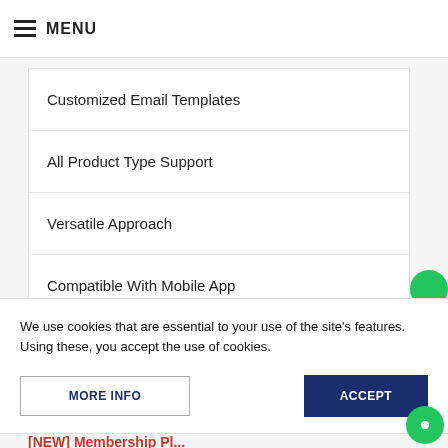MENU
Customized Email Templates
All Product Type Support
Versatile Approach
Compatible With Mobile App
We use cookies that are essential to your use of the site's features. Using these, you accept the use of cookies.
MORE INFO
ACCEPT
[NEW] Membership Pl...